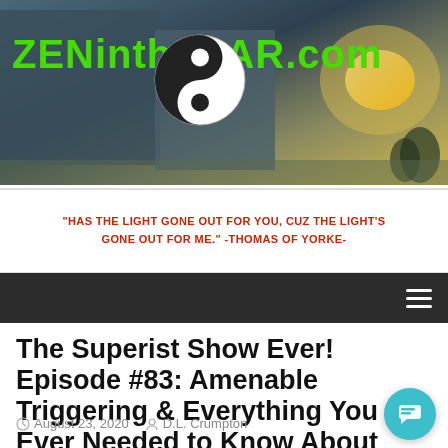[Figure (photo): Website header banner for ZENintheCAR.com with a yin-yang logo and outdoor background photo]
ZENintheCAR.com
"HAS THE LIGHT GONE OUT FOR YOU, CUZ THE LIGHT'S GONE OUT FOR ME." -THOMAS OF YORKE-
The Superist Show Ever! Episode #83: Amenable Triggering & Everything You Ever Needed to Know About Tarot!
August 23, 2020  D.L. Crumpton